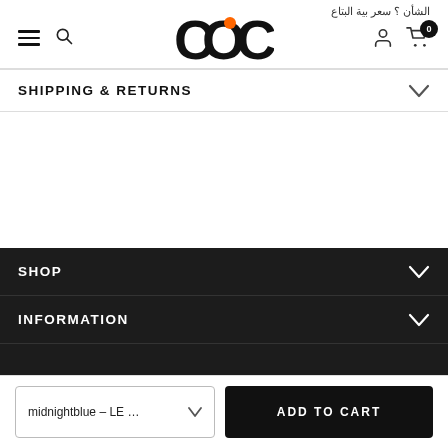الشأن ؟ سعر بية البتاع
[Figure (logo): COC brand logo with orange dot in the letter O]
SHIPPING & RETURNS
SHOP
INFORMATION
midnightblue – LE …
ADD TO CART